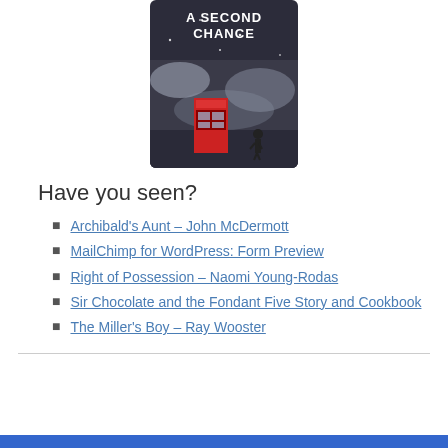[Figure (illustration): Book cover for 'A Second Chance' showing a snowy winter scene with a red telephone box and a figure walking, text 'A SECOND CHANCE' at the top in white letters.]
Have you seen?
Archibald's Aunt – John McDermott
MailChimp for WordPress: Form Preview
Right of Possession – Naomi Young-Rodas
Sir Chocolate and the Fondant Five Story and Cookbook
The Miller's Boy – Ray Wooster